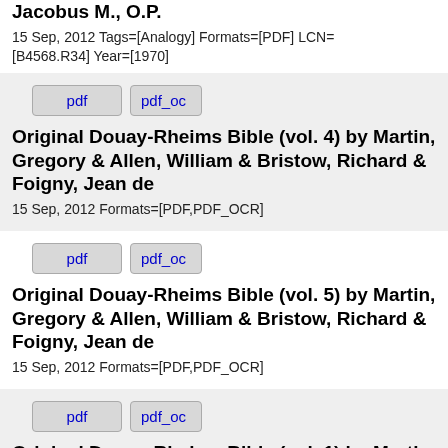… (vol. 2, pt. 4) by Ramirez, Jacobus M., O.P.
15 Sep, 2012 Tags=[Analogy] Formats=[PDF] LCN=[B4568.R34] Year=[1970]
[Figure (screenshot): Two buttons labeled 'pdf' and 'pdf_oc' (clipped)]
Original Douay-Rheims Bible (vol. 4) by Martin, Gregory & Allen, William & Bristow, Richard & Foigny, Jean de
15 Sep, 2012 Formats=[PDF,PDF_OCR]
[Figure (screenshot): Two buttons labeled 'pdf' and 'pdf_oc' (clipped)]
Original Douay-Rheims Bible (vol. 5) by Martin, Gregory & Allen, William & Bristow, Richard & Foigny, Jean de
15 Sep, 2012 Formats=[PDF,PDF_OCR]
[Figure (screenshot): Two buttons labeled 'pdf' and 'pdf_oc' (clipped)]
Original Douay-Rheims Bible (vol. 1) by Martin, Gregory & Allen, William &